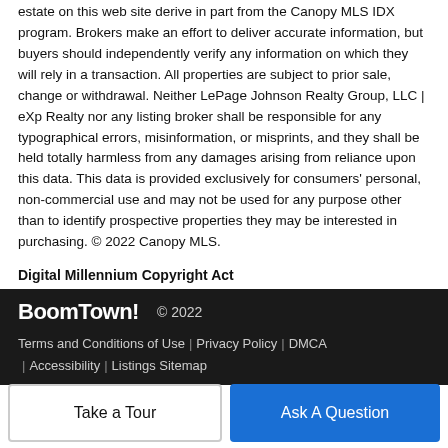estate on this web site derive in part from the Canopy MLS IDX program. Brokers make an effort to deliver accurate information, but buyers should independently verify any information on which they will rely in a transaction. All properties are subject to prior sale, change or withdrawal. Neither LePage Johnson Realty Group, LLC | eXp Realty nor any listing broker shall be responsible for any typographical errors, misinformation, or misprints, and they shall be held totally harmless from any damages arising from reliance upon this data. This data is provided exclusively for consumers' personal, non-commercial use and may not be used for any purpose other than to identify prospective properties they may be interested in purchasing. © 2022 Canopy MLS.
Digital Millennium Copyright Act
BoomTown! © 2022
Terms and Conditions of Use | Privacy Policy | DMCA | Accessibility | Listings Sitemap
Take a Tour
Ask A Question